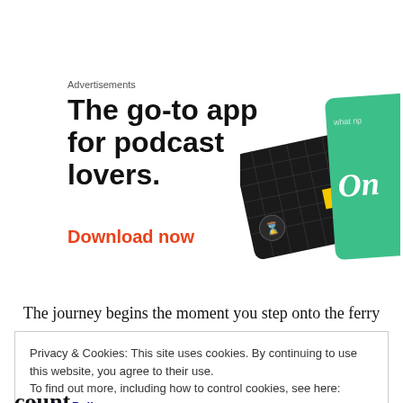Advertisements
[Figure (illustration): Advertisement banner: 'The go-to app for podcast lovers.' with a Download now CTA in red-orange, and two overlapping cards (a black card with a yellow square and a green card with cursive text 'On') shown at an angle on the right side.]
The journey begins the moment you step onto the ferry
Privacy & Cookies: This site uses cookies. By continuing to use this website, you agree to their use.
To find out more, including how to control cookies, see here: Cookie Policy
Close and accept
count